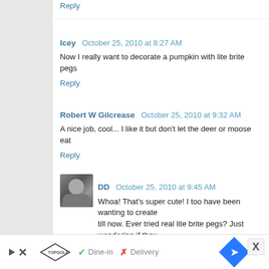Reply
Icey   October 25, 2010 at 8:27 AM
Now I really want to decorate a pumpkin with lite brite pegs
Reply
Robert W Gilcrease   October 25, 2010 at 9:32 AM
A nice job, cool... I like it but don't let the deer or moose eat
Reply
DD   October 25, 2010 at 9:45 AM
Whoa! That's super cute! I too have been wanting to create till now. Ever tried real lite brite pegs? Just wondering if they
Reply
YHess4   October 25, 2010 at 9:49 AM
Ha! The Claw! I thought I was the only one!